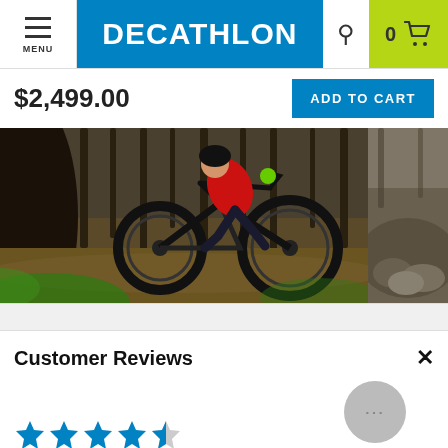MENU | DECATHLON | 0 (cart)
$2,499.00
ADD TO CART
[Figure (photo): Mountain biker riding on a forest trail, wearing red jersey and shorts. A second photo partially visible on the right shows rocks in a forest.]
Customer Reviews
4.6 out of 5 stars   720 Reviews